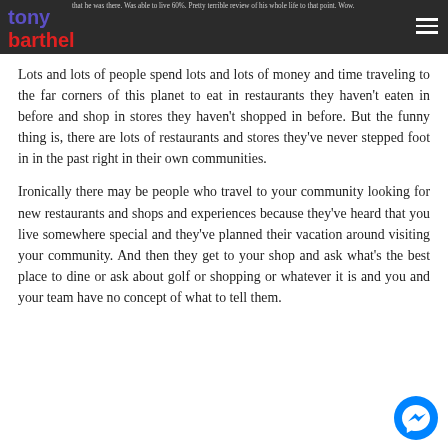tony barthel
that he was there. Was able to live 60%. Pretty terrible review of his whole life to that point. Wow.
Lots and lots of people spend lots and lots of money and time traveling to the far corners of this planet to eat in restaurants they haven't eaten in before and shop in stores they haven't shopped in before. But the funny thing is, there are lots of restaurants and stores they've never stepped foot in in the past right in their own communities.
Ironically there may be people who travel to your community looking for new restaurants and shops and experiences because they've heard that you live somewhere special and they've planned their vacation around visiting your community. And then they get to your shop and ask what's the best place to dine or ask about golf or shopping or whatever it is and you and your team have no concept of what to tell them.